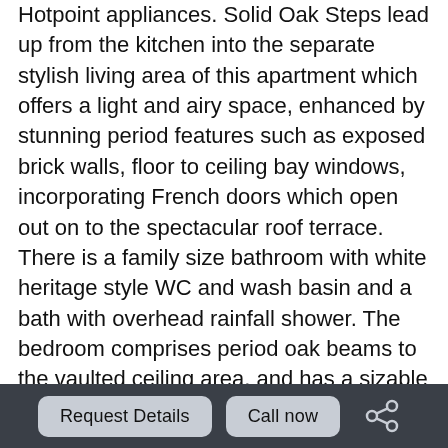Hotpoint appliances. Solid Oak Steps lead up from the kitchen into the separate stylish living area of this apartment which offers a light and airy space, enhanced by stunning period features such as exposed brick walls, floor to ceiling bay windows, incorporating French doors which open out on to the spectacular roof terrace. There is a family size bathroom with white heritage style WC and wash basin and a bath with overhead rainfall shower. The bedroom comprises period oak beams to the vaulted ceiling area, and has a sizable built in wardrobe, pale grey Primo Pile carpet with accoustic underlay. Leading out from the living/dining room this property benefits from the luxury of a stunning roof terrace offering long distance views towards Leeds, this outdoor area really is unique and offers an exceptional space for summer entertaining. Allocated parking bay and access to 3 pod charging
Request Details | Call now | Share